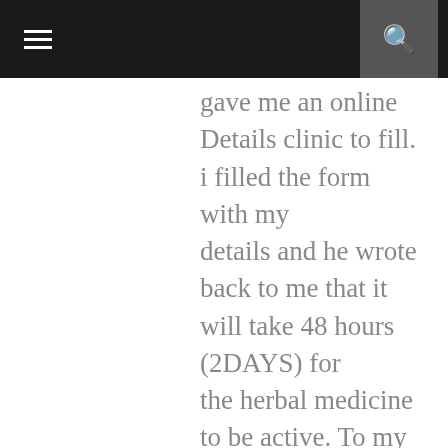[navigation bar with menu and search icons]
gave me an online Details clinic to fill. i filled the form with my details and he wrote back to me that it will take 48 hours (2DAYS) for the herbal medicine to be active. To my greatest surprise, after using the medicine, he called me on phone and told me to go for a medical check up to confirm my STATUS.